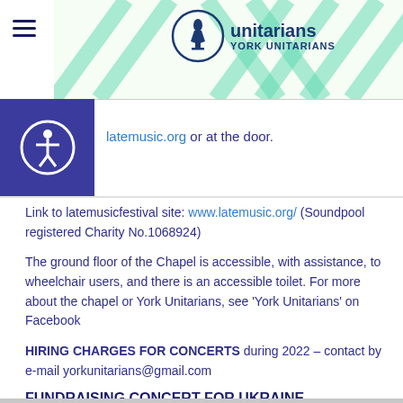York Unitarians website header with logo and navigation
latemusic.org or at the door.
Link to latemusicfestival site: www.latemusic.org/ (Soundpool registered Charity No.1068924)
The ground floor of the Chapel is accessible, with assistance, to wheelchair users, and there is an accessible toilet. For more about the chapel or York Unitarians, see 'York Unitarians' on Facebook
HIRING CHARGES FOR CONCERTS during 2022 – contact by e-mail yorkunitarians@gmail.com
FUNDRAISING CONCERT FOR UKRAINE